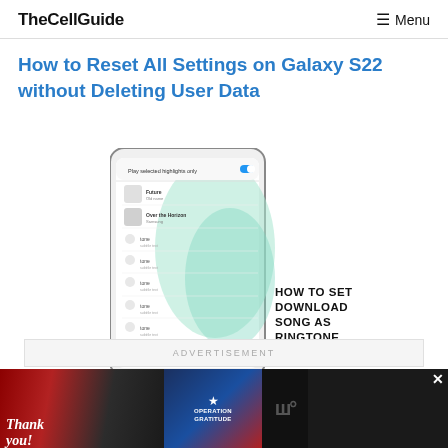TheCellGuide | Menu
How to Reset All Settings on Galaxy S22 without Deleting User Data
[Figure (screenshot): Screenshot of a Samsung Galaxy S22 phone showing a ringtone selection screen with 'Play selected highlights only' toggle, listing tones including 'Future' and 'Over the Horizon', with overlay text reading 'HOW TO SET DOWNLOAD SONG AS RINGTONE']
ADVERTISEMENT
[Figure (photo): Advertisement banner showing a 'Thank you!' message with firefighters and Operation Gratitude logo]